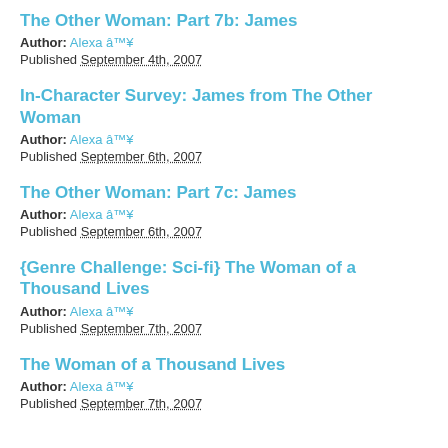The Other Woman: Part 7b: James
Author: Alexa â™¥
Published September 4th, 2007
In-Character Survey: James from The Other Woman
Author: Alexa â™¥
Published September 6th, 2007
The Other Woman: Part 7c: James
Author: Alexa â™¥
Published September 6th, 2007
{Genre Challenge: Sci-fi} The Woman of a Thousand Lives
Author: Alexa â™¥
Published September 7th, 2007
The Woman of a Thousand Lives
Author: Alexa â™¥
Published September 7th, 2007